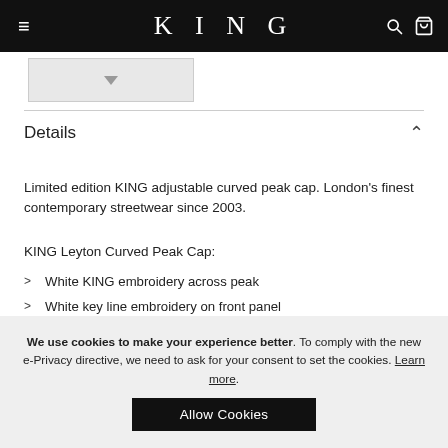KING
[Figure (other): Thumbnail image placeholder with dropdown arrow]
Details
Limited edition KING adjustable curved peak cap. London's finest contemporary streetwear since 2003.
KING Leyton Curved Peak Cap:
White KING embroidery across peak
White key line embroidery on front panel
Black snap adjuster with KING engraving
Black KING woven label on rear
Limited run with no repeats once sold out
We use cookies to make your experience better. To comply with the new e-Privacy directive, we need to ask for your consent to set the cookies. Learn more.